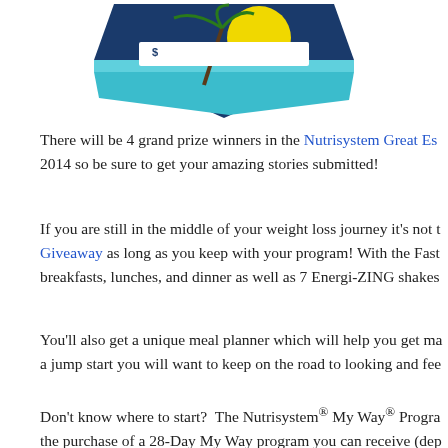[Figure (logo): Nutrisystem Great Escapes 2014 logo — diamond/shield shape with tropical scene (palm tree, yellow sun, teal water), dark blue background with white text]
There will be 4 grand prize winners in the Nutrisystem Great Escapes 2014 so be sure to get your amazing stories submitted!
If you are still in the middle of your weight loss journey it's not too late to enter the Giveaway as long as you keep with your program! With the Fast 5 kit you get breakfasts, lunches, and dinner as well as 7 Energi-ZING shakes
You'll also get a unique meal planner which will help you get maximum results for a jump start you will want to keep on the road to looking and fee
Don't know where to start?  The Nutrisystem® My Way® Program — with the purchase of a 28-Day My Way program you can receive (depending on the Fast 5 kit, it helps you jump start your weight loss by dropping